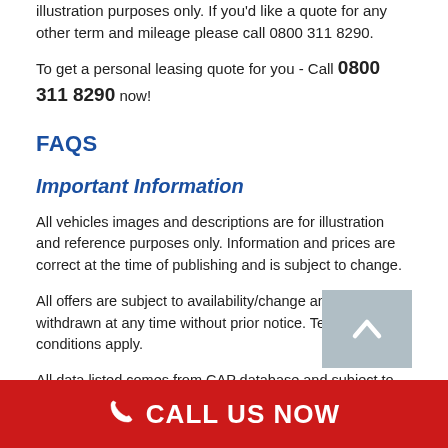illustration purposes only. If you'd like a quote for any other term and mileage please call 0800 311 8290.
To get a personal leasing quote for you - Call 0800 311 8290 now!
FAQS
Important Information
All vehicles images and descriptions are for illustration and reference purposes only. Information and prices are correct at the time of publishing and is subject to change.
All offers are subject to availability/change and may be withdrawn at any time without prior notice. Terms and conditions apply.
All data listed comes from CAP database and subject to change. We will not be held responsible for any
CALL US NOW